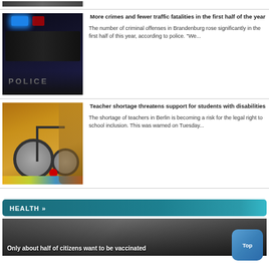[Figure (photo): Top of page, partial image of cars, cut off]
[Figure (photo): Police car with blue and red lights flashing at night]
More crimes and fewer traffic fatalities in the first half of the year
The number of criminal offenses in Brandenburg rose significantly in the first half of this year, according to police. "We...
[Figure (photo): Wheelchair in a classroom setting next to school chairs]
Teacher shortage threatens support for students with disabilities
The shortage of teachers in Berlin is becoming a risk for the legal right to school inclusion. This was warned on Tuesday...
HEALTH »
[Figure (photo): Banner image for health section with overlay title]
Only about half of citizens want to be vaccinated